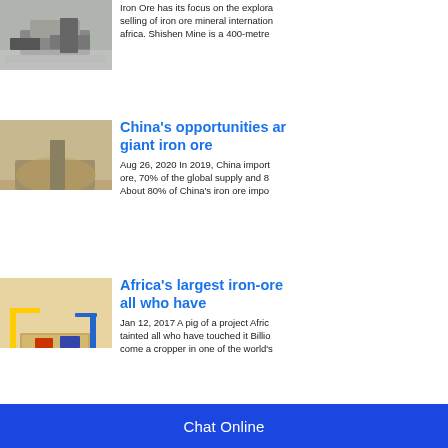[Figure (photo): Aerial or ground-level view of mining/crushing equipment with rock material]
Iron Ore has its focus on the exploration selling of iron ore mineral internationally africa. Shishen Mine is a 400-metre
[Figure (photo): Aerial view of an open-pit mining operation with heavy machinery]
China's opportunities and giant iron ore
Aug 26, 2020 In 2019, China imports ore, 70% of the global supply and 8 About 80% of China's iron ore impo
[Figure (illustration): 3D illustrated diagram of an iron ore mine facility with trucks, cranes, and processing equipment]
Africa's largest iron-ore all who have
Jan 12, 2017 A pig of a project Africa tainted all who have touched it Billion come a cropper in one of the world's
Chat Online